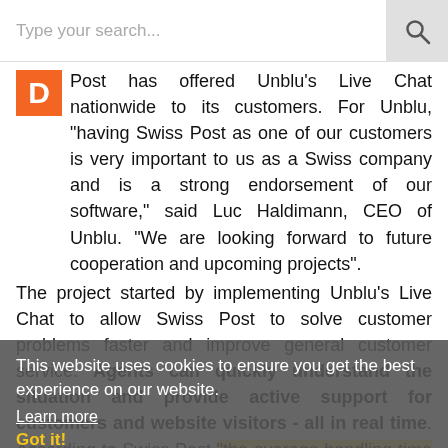Type your search...
Post has offered Unblu's Live Chat nationwide to its customers. For Unblu, "having Swiss Post as one of our customers is very important to us as a Swiss company and is a strong endorsement of our software," said Luc Haldimann, CEO of Unblu. "We are looking forward to future cooperation and upcoming projects".
The project started by implementing Unblu's Live Chat to allow Swiss Post to solve customer problems faster and improve general customer service. Agents can quickly understand the situation and provide active support for customers and website visitors - all in real time. According to Swiss Post "the average handling time is now only a few minutes. 70% of all our inquiries can be answered and dealt with in the chat," says Raphael Tanner, Business Analyst at Swiss
This website uses cookies to ensure you get the best experience on our website. Learn more Got it!